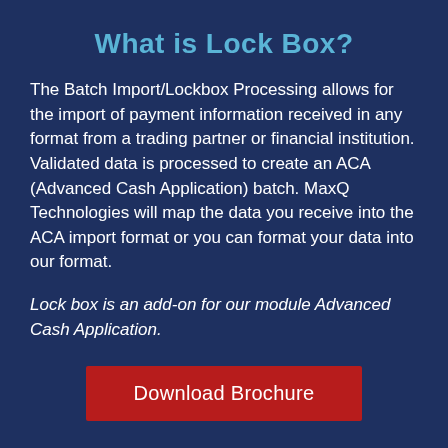What is Lock Box?
The Batch Import/Lockbox Processing allows for the import of payment information received in any format from a trading partner or financial institution. Validated data is processed to create an ACA (Advanced Cash Application) batch. MaxQ Technologies will map the data you receive into the ACA import format or you can format your data into our format.
Lock box is an add-on for our module Advanced Cash Application.
Download Brochure